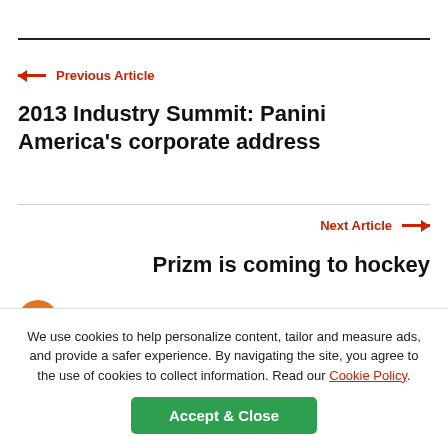← Previous Article
2013 Industry Summit: Panini America's corporate address
Next Article →
Prizm is coming to hockey
We use cookies to help personalize content, tailor and measure ads, and provide a safer experience. By navigating the site, you agree to the use of cookies to collect information. Read our Cookie Policy.
Accept & Close